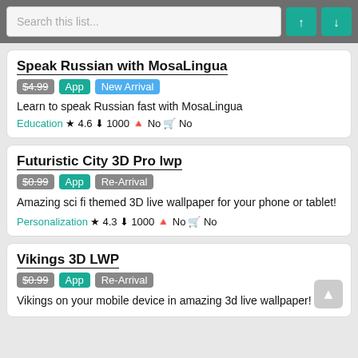Search this list...
Speak Russian with MosaLingua
$4.99 App New Arrival
Learn to speak Russian fast with MosaLingua
Education ★ 4.6 ⬇ 1000 ⬤ No 🛒 No
Futuristic City 3D Pro lwp
$0.99 App Re-Arrival
Amazing sci fi themed 3D live wallpaper for your phone or tablet!
Personalization ★ 4.3 ⬇ 1000 ⬤ No 🛒 No
Vikings 3D LWP
$0.99 App Re-Arrival
Vikings on your mobile device in amazing 3d live wallpaper!